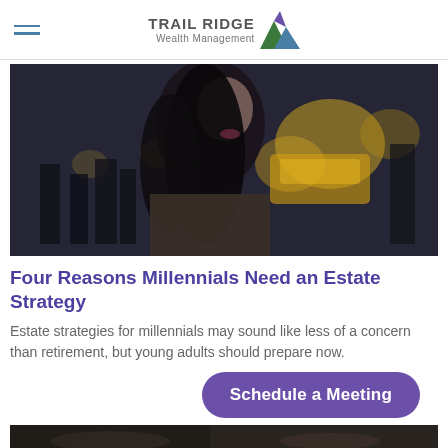TRAIL RIDGE Wealth Management
[Figure (photo): Blurry urban street scene with a woman in the foreground, yellow taxis and pedestrians in the background]
Four Reasons Millennials Need an Estate Strategy
Estate strategies for millennials may sound like less of a concern than retirement, but young adults should prepare now.
[Figure (other): Schedule a Meeting button (purple pill-shaped CTA)]
[Figure (photo): Partial bottom photo strip]